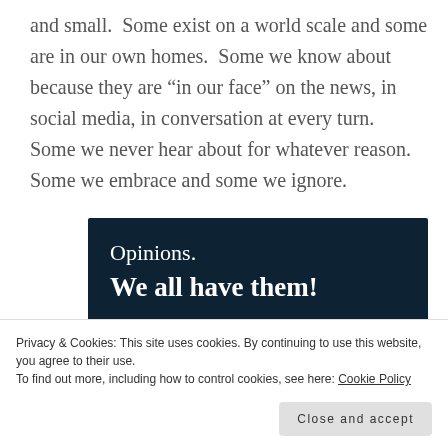and small.  Some exist on a world scale and some are in our own homes.  Some we know about because they are “in our face” on the news, in social media, in conversation at every turn.  Some we never hear about for whatever reason.  Some we embrace and some we ignore.
[Figure (illustration): Advertisement banner with dark navy background. Text reads 'Opinions.' and 'We all have them!' in white. A pink 'Start a survey' button at bottom left. A circular white logo with 'CROWD SIGNAL' text in teal at bottom right.]
Privacy & Cookies: This site uses cookies. By continuing to use this website, you agree to their use.
To find out more, including how to control cookies, see here: Cookie Policy
Close and accept